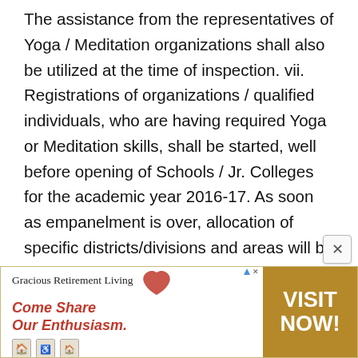The assistance from the representatives of Yoga / Meditation organizations shall also be utilized at the time of inspection. vii. Registrations of organizations / qualified individuals, who are having required Yoga or Meditation skills, shall be started, well before opening of Schools / Jr. Colleges for the academic year 2016-17. As soon as empanelment is over, allocation of specific districts/divisions and areas will be completed and the
[Figure (infographic): Advertisement banner for Gracious Retirement Living with tagline 'Come Share Our Enthusiasm.' and a 'VISIT NOW!' call-to-action button on a tan/gold background.]